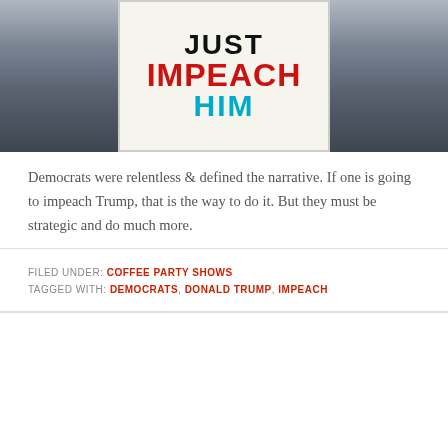[Figure (photo): Protest photo showing a person holding a sign reading 'JUST IMPEACH HIM' with crowd in background]
Democrats were relentless & defined the narrative. If one is going to impeach Trump, that is the way to do it. But they must be strategic and do much more.
FILED UNDER: COFFEE PARTY SHOWS
TAGGED WITH: DEMOCRATS, DONALD TRUMP, IMPEACH